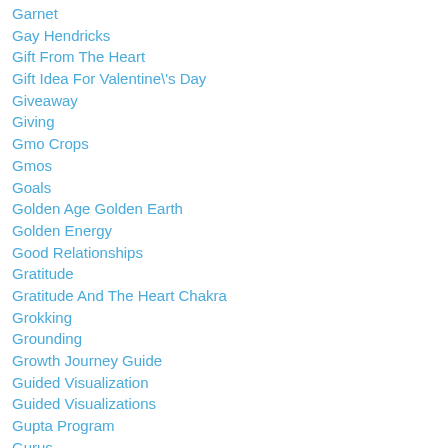Garnet
Gay Hendricks
Gift From The Heart
Gift Idea For Valentine\'s Day
Giveaway
Giving
Gmo Crops
Gmos
Goals
Golden Age Golden Earth
Golden Energy
Good Relationships
Gratitude
Gratitude And The Heart Chakra
Grokking
Grounding
Growth Journey Guide
Guided Visualization
Guided Visualizations
Gupta Program
Gurus